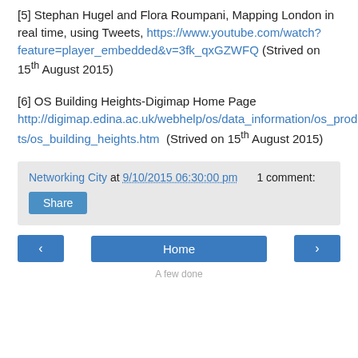[5] Stephan Hugel and Flora Roumpani, Mapping London in real time, using Tweets, https://www.youtube.com/watch?feature=player_embedded&v=3fk_qxGZWFQ (Strived on 15th August 2015)
[6] OS Building Heights-Digimap Home Page http://digimap.edina.ac.uk/webhelp/os/data_information/os_products/os_building_heights.htm (Strived on 15th August 2015)
Networking City at 9/10/2015 06:30:00 pm   1 comment:
Share
< Home >